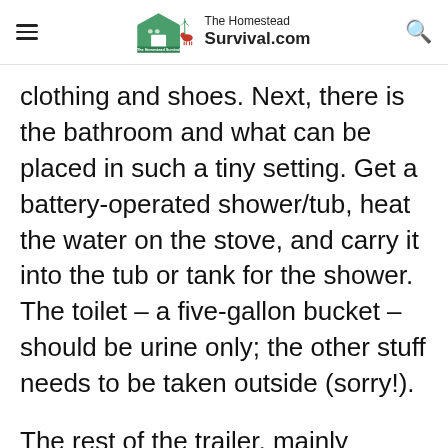The Homestead Survival.com
clothing and shoes. Next, there is the bathroom and what can be placed in such a tiny setting. Get a battery-operated shower/tub, heat the water on the stove, and carry it into the tub or tank for the shower. The toilet – a five-gallon bucket – should be urine only; the other stuff needs to be taken outside (sorry!).
The rest of the trailer, mainly outside,